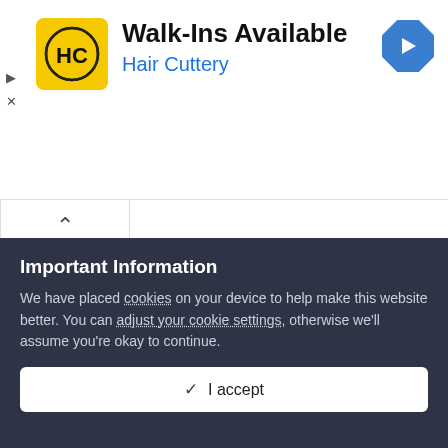[Figure (screenshot): Hair Cuttery advertisement banner with yellow HC logo, 'Walk-Ins Available' title, 'Hair Cuttery' subtitle in blue, and a blue navigation arrow icon on the right]
That you don't have a clue as to what your own holy book says.
How about actually reading it, not the small palatable bits given out in Sunday school, read it from cover to cover, read what it
Important Information
We have placed cookies on your device to help make this website better. You can adjust your cookie settings, otherwise we'll assume you're okay to continue.
✓  I accept